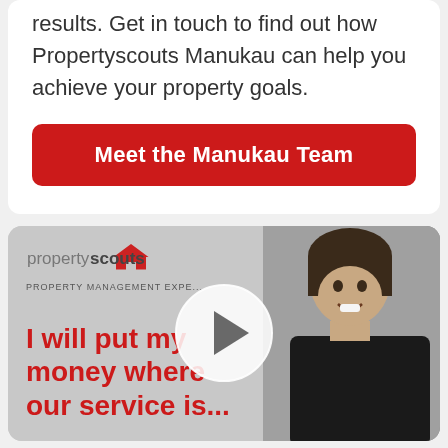results. Get in touch to find out how Propertyscouts Manukau can help you achieve your property goals.
Meet the Manukau Team
[Figure (screenshot): Propertyscouts video thumbnail with logo, tagline 'I will put my money where our service is' and a woman smiling, with a play button overlay]